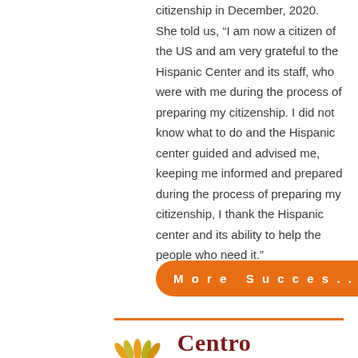citizenship in December, 2020. She told us, “I am now a citizen of the US and am very grateful to the Hispanic Center and its staff, who were with me during the process of preparing my citizenship. I did not know what to do and the Hispanic center guided and advised me, keeping me informed and prepared during the process of preparing my citizenship, I thank the Hispanic center and its ability to help the people who need it.”
More Succes... →
[Figure (logo): Centro logo with orange leaf/wheat design and dark red Centro text]